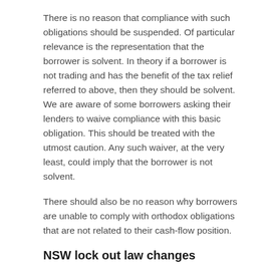There is no reason that compliance with such obligations should be suspended. Of particular relevance is the representation that the borrower is solvent. In theory if a borrower is not trading and has the benefit of the tax relief referred to above, then they should be solvent. We are aware of some borrowers asking their lenders to waive compliance with this basic obligation. This should be treated with the utmost caution. Any such waiver, at the very least, could imply that the borrower is not solvent.
There should also be no reason why borrowers are unable to comply with orthodox obligations that are not related to their cash-flow position.
NSW lock out law changes
Also of note for lenders are the imminent